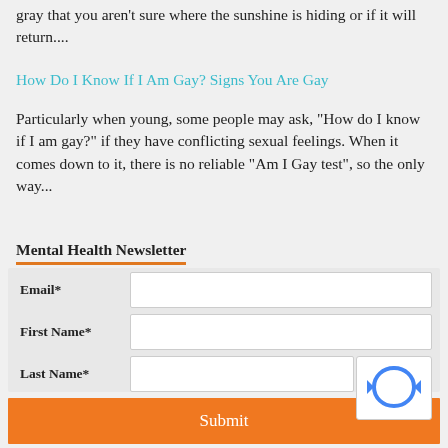gray that you aren't sure where the sunshine is hiding or if it will return....
How Do I Know If I Am Gay? Signs You Are Gay
Particularly when young, some people may ask, "How do I know if I am gay?" if they have conflicting sexual feelings. When it comes down to it, there is no reliable "Am I Gay test", so the only way...
Mental Health Newsletter
Email*
First Name*
Last Name*
Submit